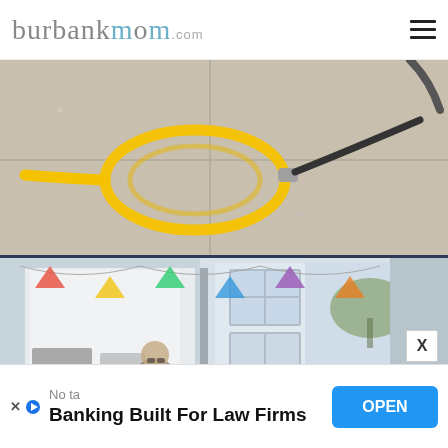burbankmom.com
[Figure (photo): Coiled yellow hose on a concrete floor/driveway, with a black cable attached.]
[Figure (photo): Interior room scene with people, colorful bunting/flags, white walls, glass door showing tree outside.]
X
Nota
Banking Built For Law Firms  OPEN